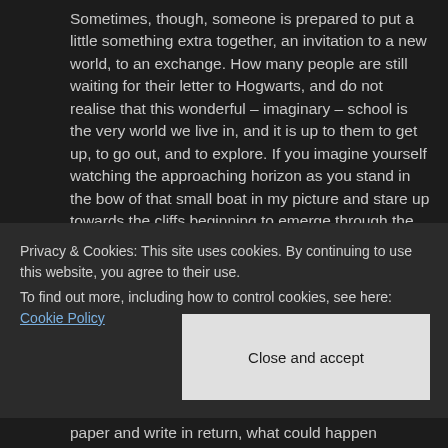pigs at a trough awaiting our touche. Sometimes, though, someone is prepared to put a little something extra together, an invitation to a new world, to an exchange. How many people are still waiting for their letter to Hogwarts, and do not realise that this wonderful – imaginary – school is the very world we live in, and it is up to them to get up, to go out, and to explore. If you imagine yourself watching the approaching horizon as you stand in the bow of that small boat in my picture and stare up towards the cliffs beginning to emerge through the sea-borne mist, at the mountains beyond, then think of what lies behind what you can see, imagine
Privacy & Cookies: This site uses cookies. By continuing to use this website, you agree to their use. To find out more, including how to control cookies, see here: Cookie Policy
Close and accept
paper and write in return, what could happen